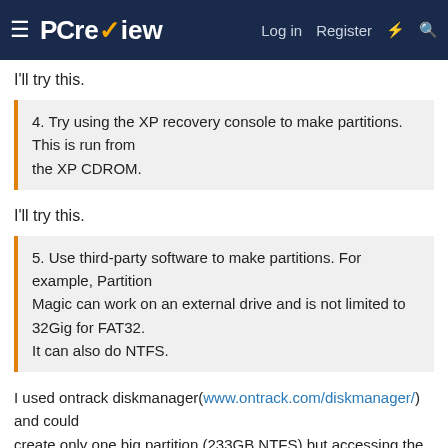PC review — Log in | Register
I'll try this.
4. Try using the XP recovery console to make partitions. This is run from
the XP CDROM.
I'll try this.
5. Use third-party software to make partitions. For example, Partition
Magic can work on an external drive and is not limited to 32Gig for FAT32.
It can also do NTFS.
I used ontrack diskmanager(www.ontrack.com/diskmanager/) and could
create only one big partition (233GB NTFS) but accessing the new
partition with the windows explorer resulted in the
messagebox that I